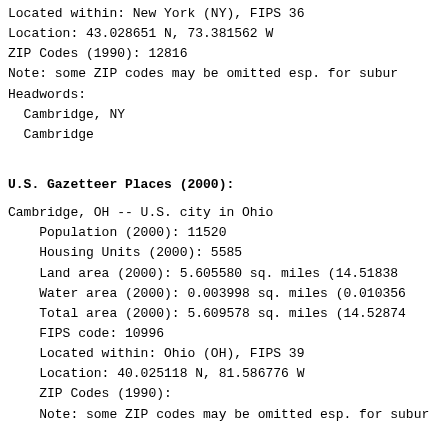Located within:    New York (NY), FIPS 36
Location:          43.028651 N, 73.381562 W
ZIP Codes (1990):  12816
Note: some ZIP codes may be omitted esp. for subur
Headwords:
Cambridge, NY
Cambridge
U.S. Gazetteer Places (2000):
Cambridge, OH -- U.S. city in Ohio
Population (2000):    11520
Housing Units (2000): 5585
Land area (2000):     5.605580 sq. miles (14.51838
Water area (2000):    0.003998 sq. miles (0.010356
Total area (2000):    5.609578 sq. miles (14.52874
FIPS code:            10996
Located within:       Ohio (OH), FIPS 39
Location:             40.025118 N, 81.586776 W
ZIP Codes (1990):
Note: some ZIP codes may be omitted esp. for subur